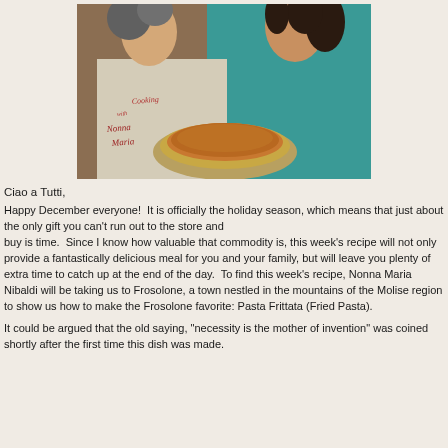[Figure (photo): Two women holding a plate with a round pasta frittata. The woman on the left wears a beige apron with 'Cooking with Nonna Maria' text in red script. The woman on the right wears a teal top. Background is a kitchen/studio setting.]
Ciao a Tutti,
Happy December everyone!  It is officially the holiday season, which means that just about the only gift you can't run out to the store and buy is time.  Since I know how valuable that commodity is, this week's recipe will not only provide a fantastically delicious meal for you and your family, but will leave you plenty of extra time to catch up at the end of the day.  To find this week's recipe, Nonna Maria Nibaldi will be taking us to Frosolone, a town nestled in the mountains of the Molise region to show us how to make the Frosolone favorite: Pasta Frittata (Fried Pasta).
It could be argued that the old saying, "necessity is the mother of invention" was coined shortly after the first time this dish was made.